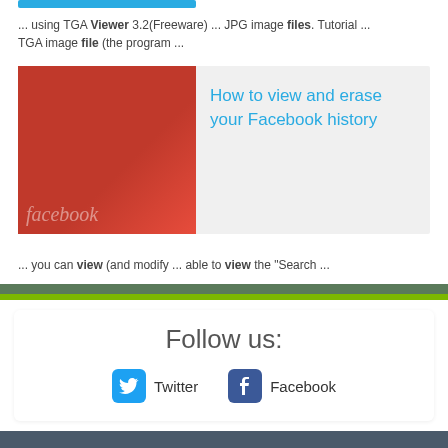... using TGA Viewer 3.2(Freeware) ... JPG image files. Tutorial ... TGA image file (the program ...
[Figure (photo): Red/orange themed image with Facebook logo text overlay]
How to view and erase your Facebook history
... you can view (and modify ... able to view the "Search ...
Follow us:
Twitter
Facebook
Software catalog • DMCA / Request content removal • Submit • Contact us
© 2006 - 2022 freedownloadmanager.org. All rights reserved.